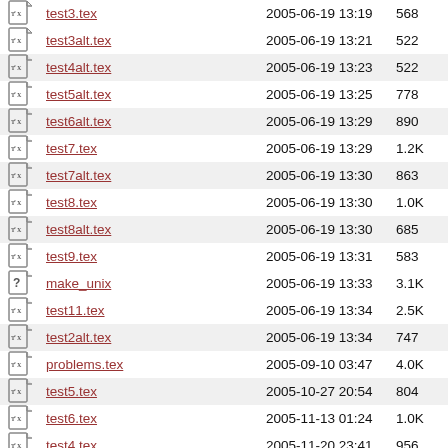| Icon | Name | Date | Size |
| --- | --- | --- | --- |
| [tex] | test3.tex | 2005-06-19 13:19 | 568 |
| [tex] | test3alt.tex | 2005-06-19 13:21 | 522 |
| [tex] | test4alt.tex | 2005-06-19 13:23 | 522 |
| [tex] | test5alt.tex | 2005-06-19 13:25 | 778 |
| [tex] | test6alt.tex | 2005-06-19 13:29 | 890 |
| [tex] | test7.tex | 2005-06-19 13:29 | 1.2K |
| [tex] | test7alt.tex | 2005-06-19 13:30 | 863 |
| [tex] | test8.tex | 2005-06-19 13:30 | 1.0K |
| [tex] | test8alt.tex | 2005-06-19 13:30 | 685 |
| [tex] | test9.tex | 2005-06-19 13:31 | 583 |
| [?] | make_unix | 2005-06-19 13:33 | 3.1K |
| [tex] | test11.tex | 2005-06-19 13:34 | 2.5K |
| [tex] | test2alt.tex | 2005-06-19 13:34 | 747 |
| [tex] | problems.tex | 2005-09-10 03:47 | 4.0K |
| [tex] | test5.tex | 2005-10-27 20:54 | 804 |
| [tex] | test6.tex | 2005-11-13 01:24 | 1.0K |
| [tex] | test4.tex | 2005-11-20 23:41 | 956 |